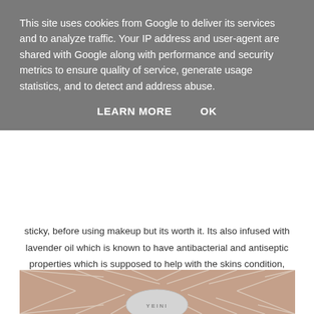This site uses cookies from Google to deliver its services and to analyze traffic. Your IP address and user-agent are shared with Google along with performance and security metrics to ensure quality of service, generate usage statistics, and to detect and address abuse.
LEARN MORE    OK
sticky, before using makeup but its worth it. Its also infused with lavender oil which is known to have antibacterial and antiseptic properties which is supposed to help with the skins condition, however the smell is quite strong so if you don't like lavender or are allergic to it, I'd stay clear.
£22 - Boots, online or instore - click here
[Figure (photo): Product photo showing a geometric patterned background in terracotta/brown tones with a mosaic-like tile design, and a white oval label at the bottom center with the brand name YEINI.]